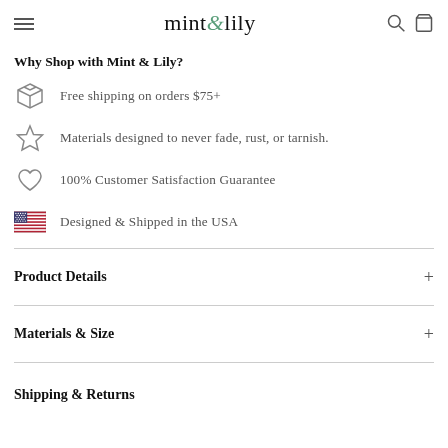mint&lily
Why Shop with Mint & Lily?
Free shipping on orders $75+
Materials designed to never fade, rust, or tarnish.
100% Customer Satisfaction Guarantee
Designed & Shipped in the USA
Product Details
Materials & Size
Shipping & Returns